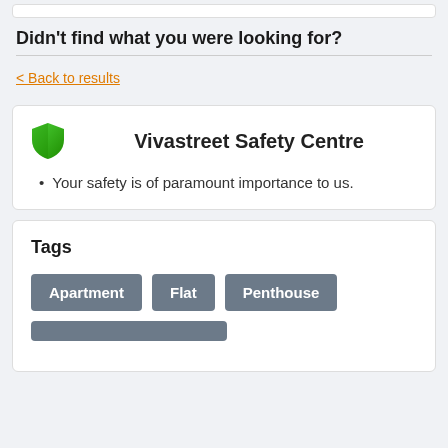Didn't find what you were looking for?
< Back to results
Vivastreet Safety Centre
Your safety is of paramount importance to us.
Tags
Apartment
Flat
Penthouse